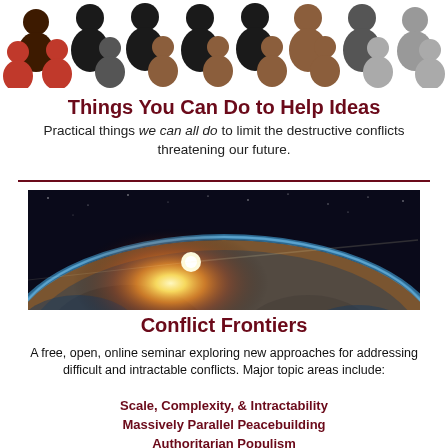[Figure (illustration): Row of stylized human silhouette icons in various colors: dark brown, red, black, tan/brown, gray, arranged in two rows across the top of the page.]
Things You Can Do to Help Ideas
Practical things we can all do to limit the destructive conflicts threatening our future.
[Figure (photo): Wide panoramic photo of Earth from space showing the curvature of the planet with a bright sun rising/setting on the horizon, with the blue atmospheric glow visible against the dark space background.]
Conflict Frontiers
A free, open, online seminar exploring new approaches for addressing difficult and intractable conflicts. Major topic areas include:
Scale, Complexity, & Intractability
Massively Parallel Peacebuilding
Authoritarian Populism